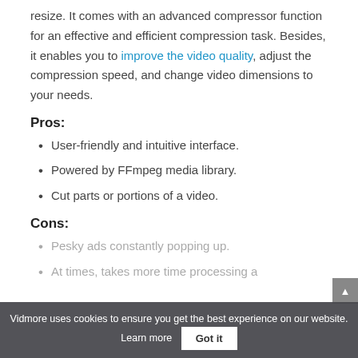resize. It comes with an advanced compressor function for an effective and efficient compression task. Besides, it enables you to improve the video quality, adjust the compression speed, and change video dimensions to your needs.
Pros:
User-friendly and intuitive interface.
Powered by FFmpeg media library.
Cut parts or portions of a video.
Cons:
Pesky ads constantly popping up.
At times, takes more time processing a
Vidmore uses cookies to ensure you get the best experience on our website. Learn more